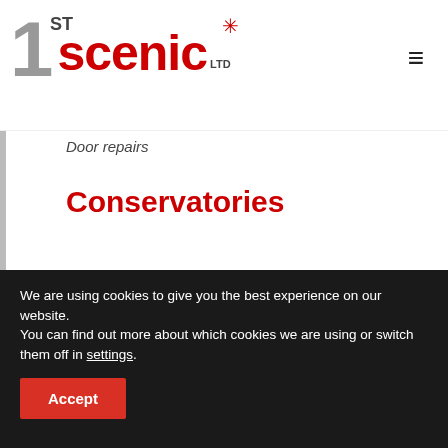[Figure (logo): 1st Scenic LTD logo with red star emblem and grey numeral 1]
Door repairs
Conservatories
Orangeries
Warm roofs
Facias Soffits
Trade
We are using cookies to give you the best experience on our website.
You can find out more about which cookies we are using or switch them off in settings.